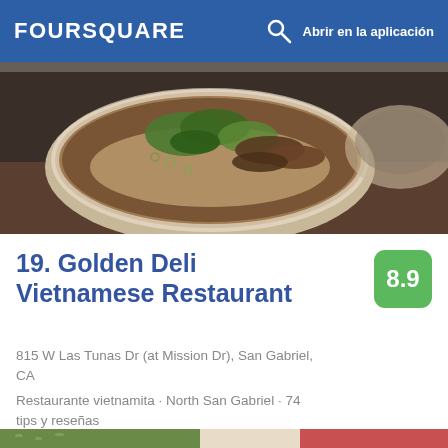FOURSQUARE   Abrir en la aplicación
[Figure (photo): Top-down photo of a Vietnamese pho soup bowl with broth, noodles, meat, green herbs, and spring onions]
19. Golden Deli Vietnamese Restaurant
815 W Las Tunas Dr (at Mission Dr), San Gabriel, CA
Restaurante vietnamita · North San Gabriel · 74 tips y reseñas
[Figure (photo): Close-up photo of a rice bowl with green herb rice, a poached egg, and sliced watermelon radish]